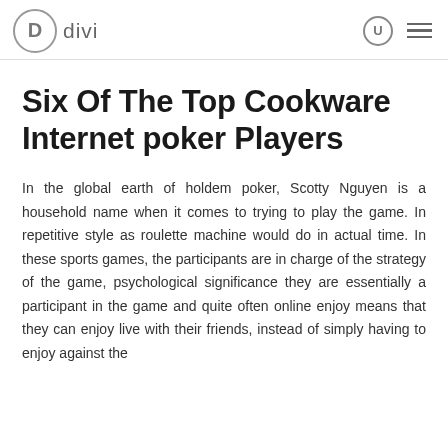Divi
Six Of The Top Cookware Internet poker Players
In the global earth of holdem poker, Scotty Nguyen is a household name when it comes to trying to play the game. In repetitive style as roulette machine would do in actual time. In these sports games, the participants are in charge of the strategy of the game, psychological significance they are essentially a participant in the game and quite often online enjoy means that they can enjoy live with their friends, instead of simply having to enjoy against the